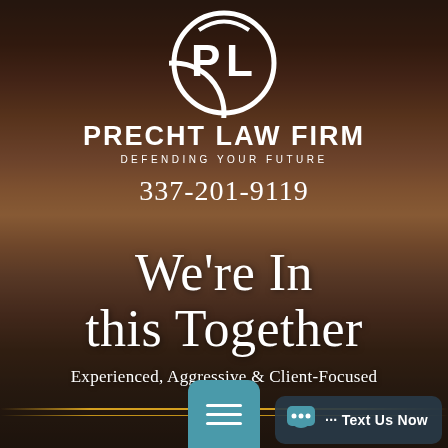[Figure (logo): Precht Law Firm circular logo with stylized 'PL' letters in white on dark background]
PRECHT LAW FIRM
DEFENDING YOUR FUTURE
337-201-9119
We're In this Together
Experienced, Aggressive & Client-Focused
··· Text Us Now